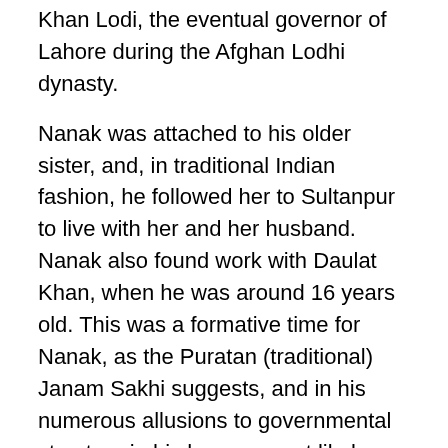in Sultanpur, where he was the steward (modi) to Daulat Khan Lodi, the eventual governor of Lahore during the Afghan Lodhi dynasty.
Nanak was attached to his older sister, and, in traditional Indian fashion, he followed her to Sultanpur to live with her and her husband. Nanak also found work with Daulat Khan, when he was around 16 years old. This was a formative time for Nanak, as the Puratan (traditional) Janam Sakhi suggests, and in his numerous allusions to governmental structure in his hymns, most likely gained at this time.
Commentaries on his life give details of his blossoming awareness from a young age. At the age of five, Nanak is said to have voiced interest in divine subjects. At age seven, his father enrolled him at the village school as was the custom. Notable lore recounts that as a child Nanak